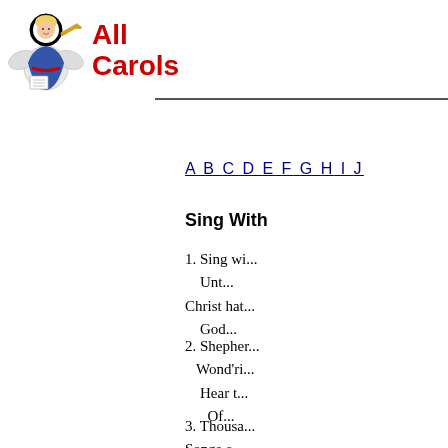[Figure (logo): All Carols website logo: angel figure with trumpet and halo, next to bold red text 'All Carols']
A B C D E F G H I J
Sing With
1. Sing wi...
Unt...
Christ hat...
God...
2. Shephel...
Wond'ri...
Hear t...
Of...
3. Thousa...
Songs o...